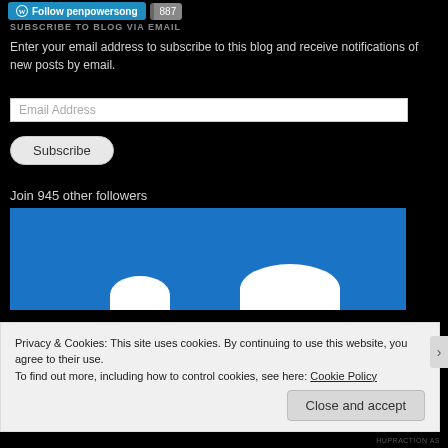[Figure (screenshot): WordPress Follow button for penpowersong with 887 followers count badge]
SUBSCRIBE TO BLOG VIA EMAIL
Enter your email address to subscribe to this blog and receive notifications of new posts by email.
[Figure (screenshot): Email Address input field]
[Figure (screenshot): Subscribe button]
Join 945 other followers
[Figure (illustration): Blue background with white cloud/bird shapes visible at bottom]
Privacy & Cookies: This site uses cookies. By continuing to use this website, you agree to their use.
To find out more, including how to control cookies, see here: Cookie Policy
[Figure (screenshot): Close and accept button for cookie notice]
HUPRACTION AS